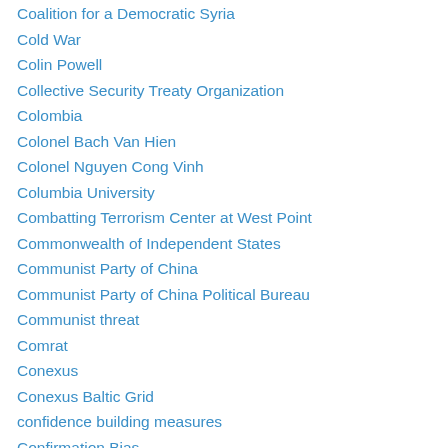Coalition for a Democratic Syria
Cold War
Colin Powell
Collective Security Treaty Organization
Colombia
Colonel Bach Van Hien
Colonel Nguyen Cong Vinh
Columbia University
Combatting Terrorism Center at West Point
Commonwealth of Independent States
Communist Party of China
Communist Party of China Political Bureau
Communist threat
Comrat
Conexus
Conexus Baltic Grid
confidence building measures
Confirmation Bias
Contact Group
Copenhagen